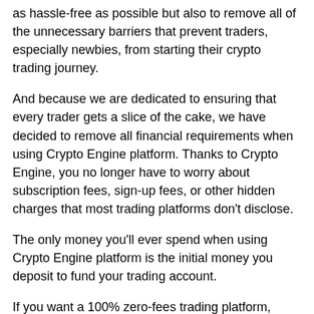as hassle-free as possible but also to remove all of the unnecessary barriers that prevent traders, especially newbies, from starting their crypto trading journey.
And because we are dedicated to ensuring that every trader gets a slice of the cake, we have decided to remove all financial requirements when using Crypto Engine platform. Thanks to Crypto Engine, you no longer have to worry about subscription fees, sign-up fees, or other hidden charges that most trading platforms don't disclose.
The only money you'll ever spend when using Crypto Engine platform is the initial money you deposit to fund your trading account.
If you want a 100% zero-fees trading platform, you'll not be disappointed to give Crypto Engine platform a try.
[Figure (screenshot): A dark rounded button/widget showing a US flag emoji followed by the text 'English', styled as a language selector UI element.]